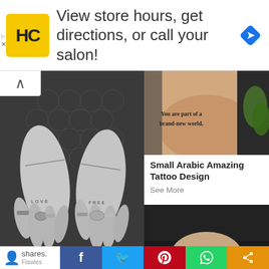[Figure (photo): Advertisement banner: HC salon logo, text 'View store hours, get directions, or call your salon!', navigation icon]
[Figure (photo): Black and white photo of two hands with rings and small knuckle tattoos reading 'LOVE' and 'FREE', with patterned dark jacket in background]
[Figure (photo): Color photo of an arm with tattoo reading 'You are part of a brand-new world.']
Small Arabic Amazing Tattoo Design
See More
[Figure (photo): Dark photo of an arm/wrist area with a small tattoo]
shares.
Flawles